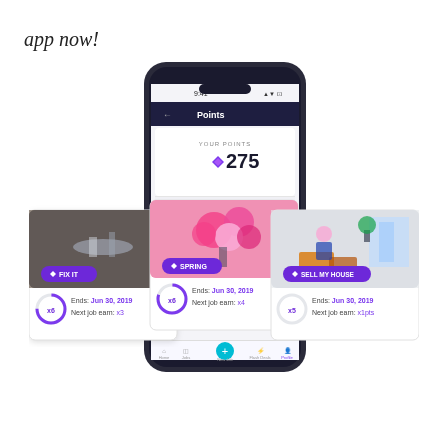app now!
[Figure (screenshot): Mobile app screenshot showing a Points rewards screen with 'YOUR POINTS: 275' and 'POINT STREAKS' section. Three streak cards are shown: FIX IT (x6 points, Ends: Jun 30, 2019, Next job earn: x3), SPRING (x6 points, Ends: Jun 30, 2019, Next job earn: x4), SELL MY HOUSE (x5 points, Ends: Jun 30, 2019, Next job earn: x1pts). Each card has a photo: plumber under sink, pink flowers bouquet, person packing boxes. Bottom navigation shows Home, Jobs, New Job, Flash Deals, Profile tabs.]